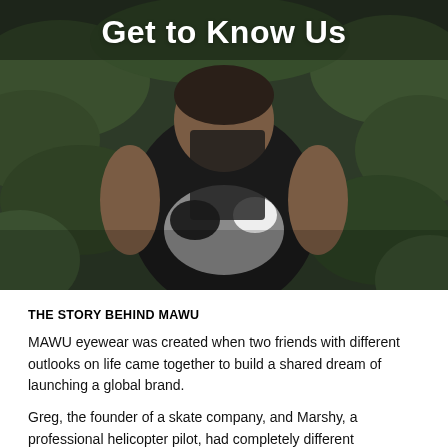[Figure (photo): A man sitting outdoors among green foliage, holding a dog, wearing a black t-shirt. Photo is in color with a somewhat dark, naturalistic tone.]
Get to Know Us
THE STORY BEHIND MAWU
MAWU eyewear was created when two friends with different outlooks on life came together to build a shared dream of launching a global brand.
Greg, the founder of a skate company, and Marshy, a professional helicopter pilot, had completely different approaches to life. Greg is constantly thinking ahead and always has